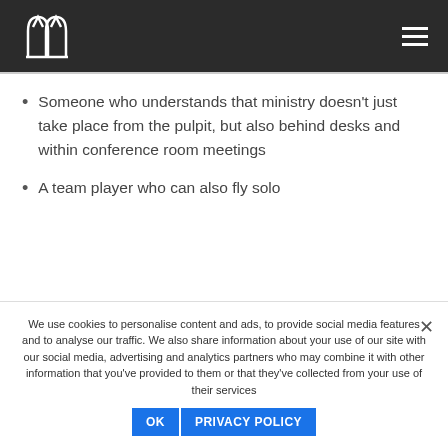Church logo and navigation menu
Someone who understands that ministry doesn't just take place from the pulpit, but also behind desks and within conference room meetings
A team player who can also fly solo
We use cookies to personalise content and ads, to provide social media features and to analyse our traffic. We also share information about your use of our site with our social media, advertising and analytics partners who may combine it with other information that you've provided to them or that they've collected from your use of their services
OK   PRIVACY POLICY